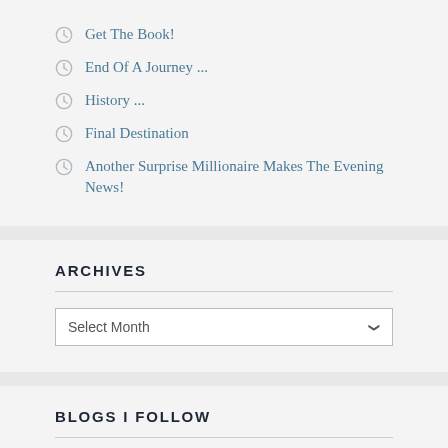Get The Book!
End Of A Journey ...
History ...
Final Destination
Another Surprise Millionaire Makes The Evening News!
ARCHIVES
Select Month
BLOGS I FOLLOW